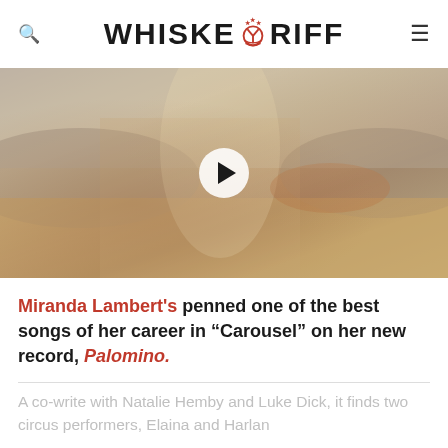WHISKEY RIFF
[Figure (photo): A blonde woman wearing a wide-brim hat in a desert/grassland landscape, with a play button overlay indicating a video.]
Miranda Lambert's penned one of the best songs of her career in “Carousel” on her new record, Palomino.
A co-write with Natalie Hemby and Luke Dick, it finds two circus performers, Elaina and Harlan